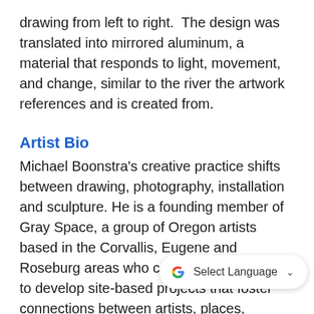drawing from left to right.  The design was translated into mirrored aluminum, a material that responds to light, movement, and change, similar to the river the artwork references and is created from.
Artist Bio
Michael Boonstra's creative practice shifts between drawing, photography, installation and sculpture. He is a founding member of Gray Space, a group of Oregon artists based in the Corvallis, Eugene and Roseburg areas who came together in 2016 to develop site-based projects that foster connections between artists, places, histories and communities. Recent awards include a Career Opportunity Grant from the Oregon Arts Commission, project funding from the Ford Family Foundation and Ford Family Foundation residencies at Playa and the Djerassi Resident